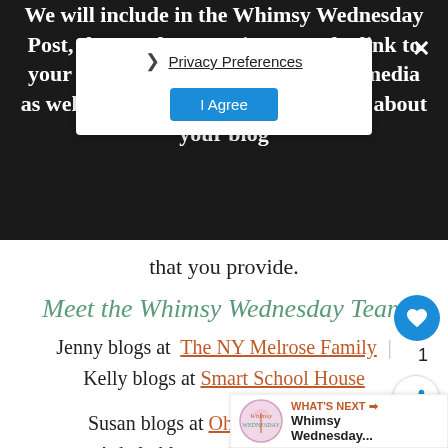We will include in the Whimsy Wednesday Post, that week, your picture and a link to your blog, links to all of your social media as well as a one sentence bio about your blog that you provide.
[Figure (screenshot): Privacy Preferences popup overlay with 'I Agree' button and close X button, shown over dark banner]
Meet the Whimsy Wednesday Team
Jenny blogs at The NY Melrose Family
Kelly blogs at Smart School House
Susan blogs at Oh My! Creative
Ashely blogs at Simply Design
[Figure (screenshot): Like button (heart icon, blue circle) with count 1, and share button below]
[Figure (screenshot): What's Next panel with Whimsy Wednesday logo and text 'Whimsy Wednesday...']